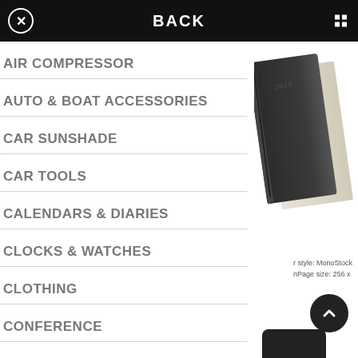BACK
AIR COMPRESSOR
AUTO & BOAT ACCESSORIES
CAR SUNSHADE
CAR TOOLS
CALENDARS & DIARIES
CLOCKS & WATCHES
CLOTHING
CONFERENCE
[Figure (photo): Dark leather diary/notebook product photo]
r style: MonoStock
nPage size: 256 x